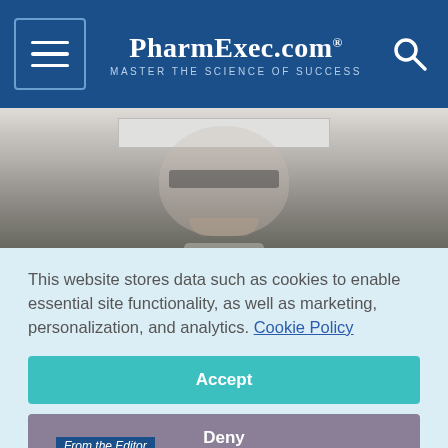PharmExec.com — MASTER THE SCIENCE OF SUCCESS
[Figure (photo): Black and white close-up photo of a man wearing glasses, smiling, in a dark suit]
Less, But Better
July 01, 2012
By William Looney
From the Editor
This website stores data such as cookies to enable essential site functionality, as well as marketing, personalization, and analytics. Cookie Policy
Accept
Deny